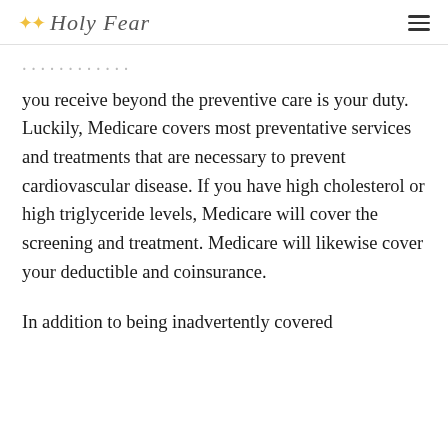Holy Fear
you receive beyond the preventive care is your duty. Luckily, Medicare covers most preventative services and treatments that are necessary to prevent cardiovascular disease. If you have high cholesterol or high triglyceride levels, Medicare will cover the screening and treatment. Medicare will likewise cover your deductible and coinsurance.
In addition to being inadvertently covered